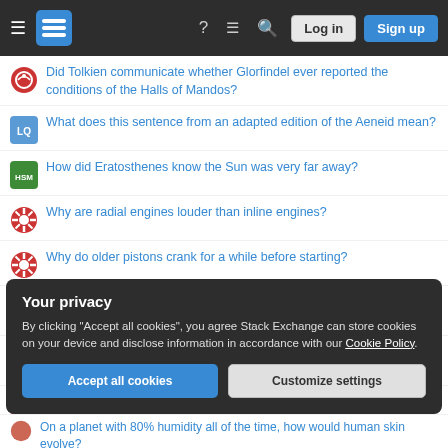Stack Exchange navigation bar with Log in and Sign up buttons
Did Tolkien communicate whether Glorfindel ever reported the conditions of the Halls of Mandos?
What does this sentence from an adapted edition of the Aeneid mean?
How did Eratosthenes know the Sun was very far away?
Why are radial engines louder than inline engines?
Why do older pistons crank for a while before starting?
How to share authorship in a 2-author paper where both contributed equally
What would be the significance of a legal provision specifying a period of 12 months, rather than 1 year?
If someone instigates the end of a relationship, what is the term for the
Your privacy
By clicking "Accept all cookies", you agree Stack Exchange can store cookies on your device and disclose information in accordance with our Cookie Policy.
Accept all cookies   Customize settings
On a planet with 80% humidity all of the time, how would human skin evolve?